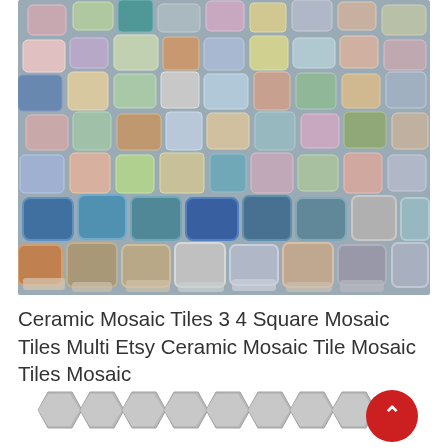[Figure (photo): Close-up photo of a large pile of colorful ceramic mosaic tile pieces in various colors including blue, green, yellow, pink, red, purple, teal, gray, and white. The tiles are small square/rectangular pieces with glazed tops and unglazed sides.]
Ceramic Mosaic Tiles 3 4 Square Mosaic Tiles Multi Etsy Ceramic Mosaic Tile Mosaic Tiles Mosaic
[Figure (photo): Partial view of gray hexagonal ceramic/stone mosaic tiles arranged in a row at the bottom of the page.]